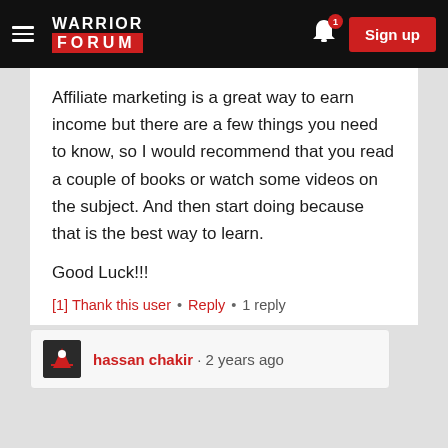Warrior Forum | Sign up
Affiliate marketing is a great way to earn income but there are a few things you need to know, so I would recommend that you read a couple of books or watch some videos on the subject. And then start doing because that is the best way to learn.

Good Luck!!!
[1] Thank this user • Reply • 1 reply
hassan chakir · 2 years ago